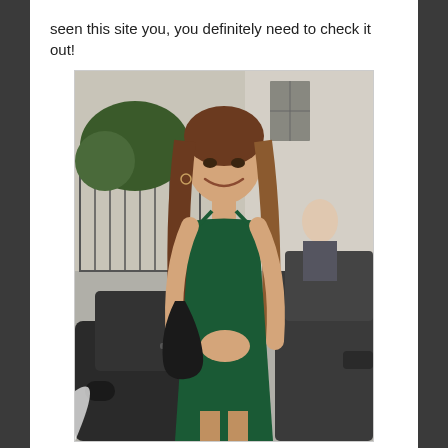seen this site you, you definitely need to check it out!
[Figure (photo): A young woman with long brown hair smiling, wearing a dark green spaghetti-strap mini dress, standing next to a dark car on a street with buildings and greenery in the background. An older bald man is visible in the background.]